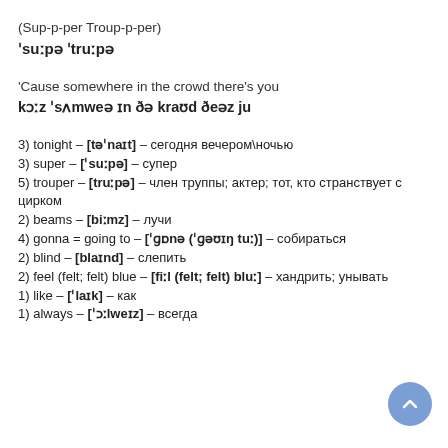(Sup-p-per Troup-p-per)
ˈsuːpə ˈtruːpə
'Cause somewhere in the crowd there's you
kɔːz ˈsʌmweə ɪn ðə kraʊd ðeəz ju
3) tonight – [təˈnaɪt] – сегодня вечером\ночью
3) super – [ˈsuːpə] – супер
5) trouper – [truːpə] – член труппы; актер; тот, кто странствует с цирком
2) beams – [biːmz] – лучи
4) gonna = going to – [ˈɡɒnə (ˈɡəʊɪŋ tuː)] – собираться
2) blind – [blaɪnd] – слепить
2) feel (felt; felt) blue – [fiːl (felt; felt) bluː] – хандрить; унывать
1) like – [ˈlaɪk] – как
1) always – [ˈɔːlweɪz] – всегда